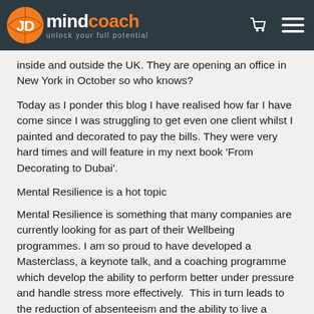JD mindcoach — unlock your full potential
inside and outside the UK. They are opening an office in New York in October so who knows?
Today as I ponder this blog I have realised how far I have come since I was struggling to get even one client whilst I painted and decorated to pay the bills. They were very hard times and will feature in my next book 'From Decorating to Dubai'.
Mental Resilience is a hot topic
Mental Resilience is something that many companies are currently looking for as part of their Wellbeing programmes. I am so proud to have developed a Masterclass, a keynote talk, and a coaching programme which develop the ability to perform better under pressure and handle stress more effectively. This in turn leads to the reduction of absenteeism and the ability to live a happier life.